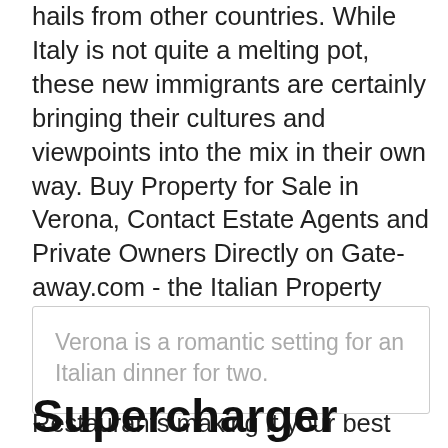hails from other countries. While Italy is not quite a melting pot, these new immigrants are certainly bringing their cultures and viewpoints into the mix in their own way. Buy Property for Sale in Verona, Contact Estate Agents and Private Owners Directly on Gate-away.com - the Italian Property Portal. Verona Tourism: Tripadvisor has 425,853 reviews of Verona Hotels, Attractions, and Restaurants making it your best Verona resource.
Verona is a romantic setting for an Italian dinner for two.
Supercharger Tesla